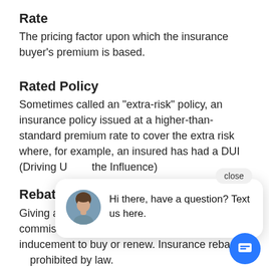Rate
The pricing factor upon which the insurance buyer's premium is based.
Rated Policy
Sometimes called an "extra-risk" policy, an insurance policy issued at a higher-than-standard premium rate to cover the extra risk where, for example, an insured has had a DUI (Driving Under the Influence)
Rebating
Giving any value, for example, a portion of the commission, to the prospect or insured as an inducement to buy or renew. Insurance rebating is prohibited by law.